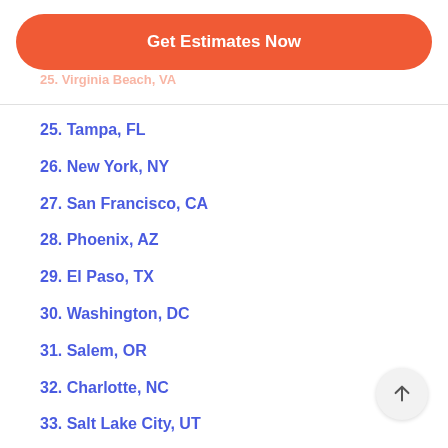[Figure (other): Orange rounded rectangle CTA button with white bold text 'Get Estimates Now', with faded orange ghost text of a city name partially visible behind it]
25. Tampa, FL
26. New York, NY
27. San Francisco, CA
28. Phoenix, AZ
29. El Paso, TX
30. Washington, DC
31. Salem, OR
32. Charlotte, NC
33. Salt Lake City, UT